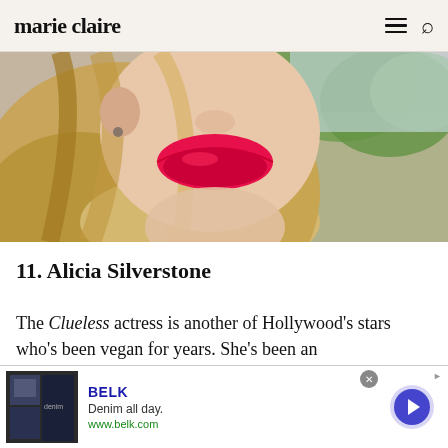marie claire
[Figure (photo): Close-up photo of a woman with long blonde hair and bright red/pink lipstick, with green trees visible in the background.]
11. Alicia Silverstone
The Clueless actress is another of Hollywood's stars who's been vegan for years. She's been an
[Figure (screenshot): Advertisement banner for BELK: 'Denim all day. www.belk.com' with thumbnail images of denim-clad models and a navigation arrow.]